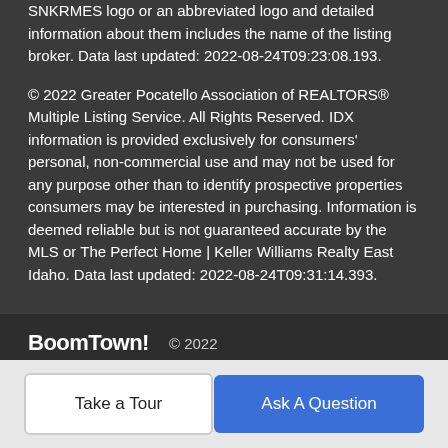SNKRMES logo or an abbreviated logo and detailed information about them includes the name of the listing broker. Data last updated: 2022-08-24T09:23:08.193.
© 2022 Greater Pocatello Association of REALTORS® Multiple Listing Service. All Rights Reserved. IDX information is provided exclusively for consumers' personal, non-commercial use and may not be used for any purpose other than to identify prospective properties consumers may be interested in purchasing. Information is deemed reliable but is not guaranteed accurate by the MLS or The Perfect Home | Keller Williams Realty East Idaho. Data last updated: 2022-08-24T09:31:14.393.
BoomTown! © 2022 | Terms of Use | Privacy Policy | Accessibility | DMCA | Listings Sitemap
Take a Tour | Ask A Question